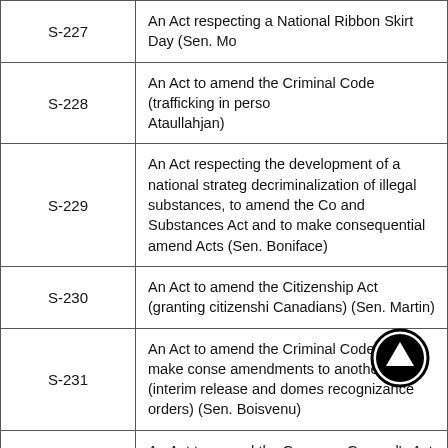| Bill Number | Description |
| --- | --- |
| S-227 | An Act respecting a National Ribbon Skirt Day (Sen. Mo…) |
| S-228 | An Act to amend the Criminal Code (trafficking in perso… Ataullahjan) |
| S-229 | An Act respecting the development of a national strateg… decriminalization of illegal substances, to amend the Co… and Substances Act and to make consequential amend… Acts (Sen. Boniface) |
| S-230 | An Act to amend the Citizenship Act (granting citizenshi… Canadians) (Sen. Martin) |
| S-231 | An Act to amend the Criminal Code and to make conse… amendments to another Act (interim release and domes… recognizance orders) (Sen. Boisvenu) |
| S-232 | An Act to amend the Governor General's Act (retiring an… other benefits) (Sen. Carignan) |